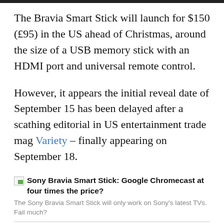The Bravia Smart Stick will launch for $150 (£95) in the US ahead of Christmas, around the size of a USB memory stick with an HDMI port and universal remote control.
However, it appears the initial reveal date of September 15 has been delayed after a scathing editorial in US entertainment trade mag Variety – finally appearing on September 18.
[Figure (other): Broken image icon placeholder for article thumbnail]
Sony Bravia Smart Stick: Google Chromecast at four times the price?
The Sony Bravia Smart Stick will only work on Sony's latest TVs. Fail much?